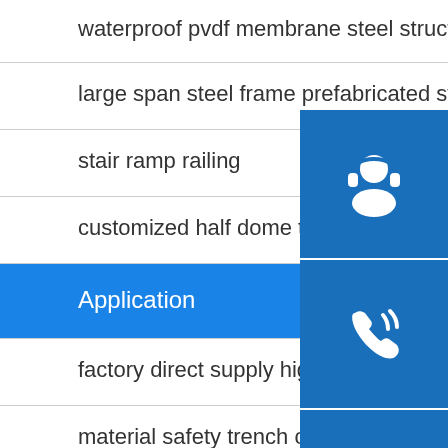waterproof pvdf membrane steel structure carport
large span steel frame prefabricated steel struct
stair ramp railing
customized half dome tents for outdoor activities
Application
factory direct supply high quality prefabricate customed exp
material safety trench cover road plate
steel structure warehouse building prefabricated f